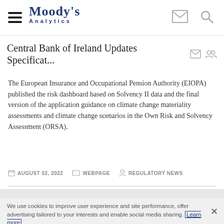Moody's Analytics
Central Bank of Ireland Updates Specificat...
The European Insurance and Occupational Pension Authority (EIOPA) published the risk dashboard based on Solvency II data and the final version of the application guidance on climate change materiality assessments and climate change scenarios in the Own Risk and Solvency Assessment (ORSA).
AUGUST 02, 2022   WEBPAGE   REGULATORY NEWS
We use cookies to improve user experience and site performance, offer advertising tailored to your interests and enable social media sharing. Learn more